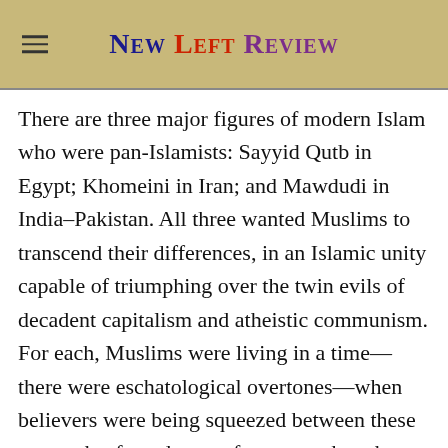New Left Review
There are three major figures of modern Islam who were pan-Islamists: Sayyid Qutb in Egypt; Khomeini in Iran; and Mawdudi in India–Pakistan. All three wanted Muslims to transcend their differences, in an Islamic unity capable of triumphing over the twin evils of decadent capitalism and atheistic communism. For each, Muslims were living in a time—there were eschatological overtones—when believers were being squeezed between these two rocks, forced to opt for one or the other. They pitched Islam as an alternative. But Islam could offer that only if it was united. In the Sunni world, Mawdudi and Qutb preached pan-Islamism, but